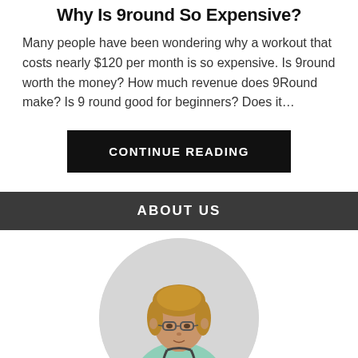Why Is 9round So Expensive?
Many people have been wondering why a workout that costs nearly $120 per month is so expensive. Is 9round worth the money? How much revenue does 9Round make? Is 9 round good for beginners? Does it…
CONTINUE READING
ABOUT US
[Figure (photo): Circular cropped photo of a female doctor or medical professional wearing glasses and a light teal/green medical coat with a stethoscope, with shoulder-length blonde-brown hair, against a light grey background.]